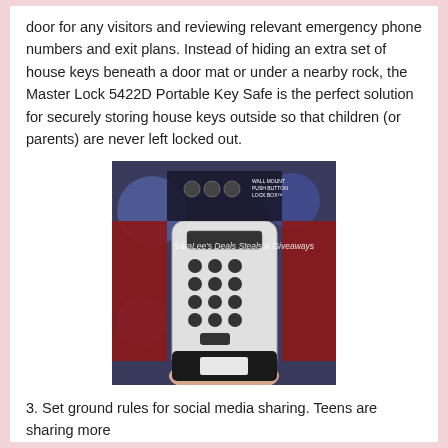door for any visitors and reviewing relevant emergency phone numbers and exit plans. Instead of hiding an extra set of house keys beneath a door mat or under a nearby rock, the Master Lock 5422D Portable Key Safe is the perfect solution for securely storing house keys outside so that children (or parents) are never left locked out.
[Figure (photo): A person holding a Master Lock 5422D Portable Key Safe still in its packaging. The product shows a wall mount push button lock box with a keypad. A watermark reads SaraLee's Deals Steals & Giveaways.]
3. Set ground rules for social media sharing. Teens are sharing more